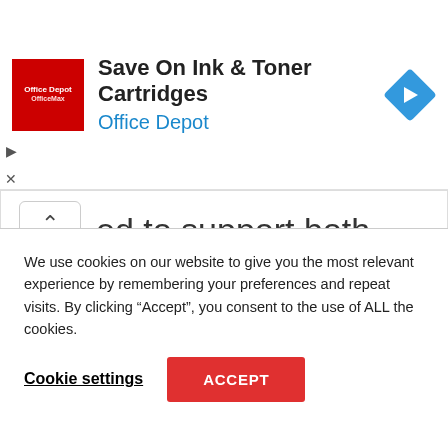[Figure (screenshot): Office Depot / OfficeMax advertisement banner with red logo, text 'Save On Ink & Toner Cartridges' and 'Office Depot', and a blue diamond navigation icon on the right.]
ed to support both heavy and lightweight items.
We use cookies on our website to give you the most relevant experience by remembering your preferences and repeat visits. By clicking “Accept”, you consent to the use of ALL the cookies.
Cookie settings
ACCEPT